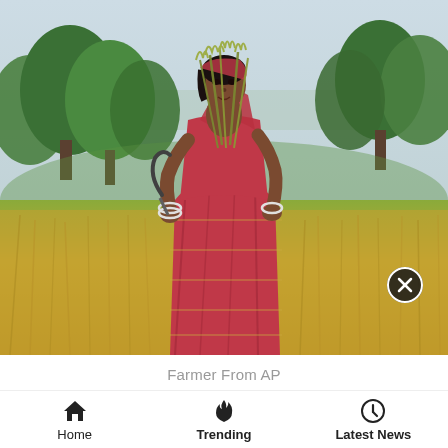[Figure (photo): A woman farmer from Andhra Pradesh (AP) standing in a field, wearing a red and gold checkered saree, holding harvested rice/grain stalks and a sickle. Green trees are visible in the background, and the field has golden-yellow grain stalks. A close/dismiss button icon is visible in the lower right of the image.]
Farmer From AP
Home
Trending
Latest News